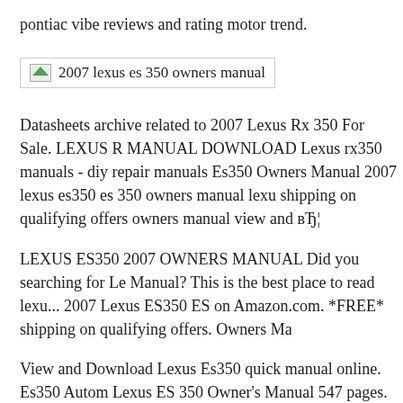pontiac vibe reviews and rating motor trend.
[Figure (photo): Broken/placeholder image for '2007 lexus es 350 owners manual']
Datasheets archive related to 2007 Lexus Rx 350 For Sale. LEXUS R MANUAL DOWNLOAD Lexus rx350 manuals - diy repair manuals Es350 Owners Manual 2007 lexus es350 es 350 owners manual lexu shipping on qualifying offers owners manual view and вЂ¦
LEXUS ES350 2007 OWNERS MANUAL Did you searching for Le Manual? This is the best place to read lexu... 2007 Lexus ES350 ES on Amazon.com. *FREE* shipping on qualifying offers. Owners Ma
View and Download Lexus Es350 quick manual online. Es350 Autom Lexus ES 350 Owner's Manual 547 pages. Related Manuals for Lexu Lexus ES350 Repair Manual / Service Manual Online - 2007, 2008, you need a Lexus ES350 repair manual, you're in вЂ¦